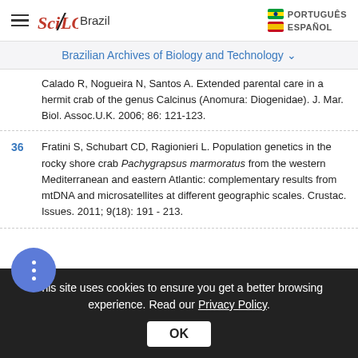SciELO Brazil
Brazilian Archives of Biology and Technology
Calado R, Nogueira N, Santos A. Extended parental care in a hermit crab of the genus Calcinus (Anomura: Diogenidae). J. Mar. Biol. Assoc.U.K. 2006; 86: 121-123.
36 Fratini S, Schubart CD, Ragionieri L. Population genetics in the rocky shore crab Pachygrapsus marmoratus from the western Mediterranean and eastern Atlantic: complementary results from mtDNA and microsatellites at different geographic scales. Crustac. Issues. 2011; 9(18): 191 - 213.
This site uses cookies to ensure you get a better browsing experience. Read our Privacy Policy.